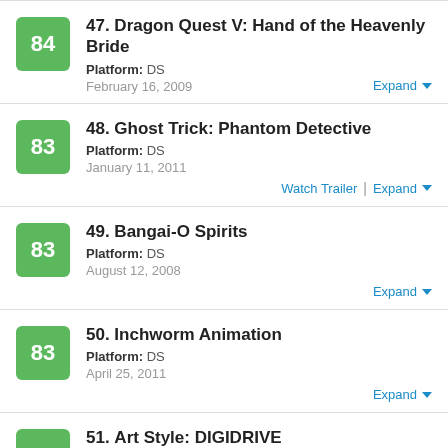47. Dragon Quest V: Hand of the Heavenly Bride | Platform: DS | February 16, 2009 | Score: 84 | Expand
48. Ghost Trick: Phantom Detective | Platform: DS | January 11, 2011 | Score: 83 | Watch Trailer | Expand
49. Bangai-O Spirits | Platform: DS | August 12, 2008 | Score: 83 | Expand
50. Inchworm Animation | Platform: DS | April 25, 2011 | Score: 83 | Expand
51. Art Style: DIGIDRIVE | Score: 83